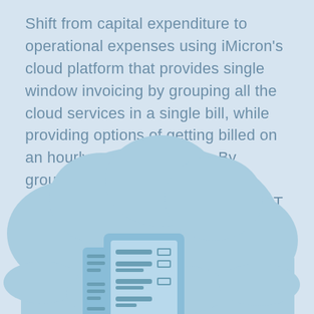Shift from capital expenditure to operational expenses using iMicron's cloud platform that provides single window invoicing by grouping all the cloud services in a single bill, while providing options of getting billed on an hourly or monthly basis. By grouping all your services in one invoice, it becomes easier for your IT team to issue payments.
[Figure (illustration): A light blue cloud illustration with an invoice/document icon featuring lines and checkboxes displayed in front of and partially below the cloud shape]